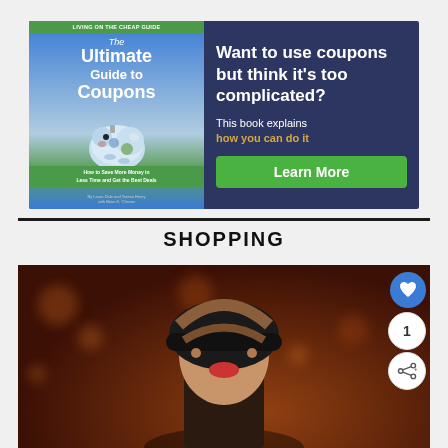[Figure (illustration): Advertisement for 'The Ultimate Guide to Coupons' book. Dark navy blue background with book cover on left showing piggy bank with coins and green bar. Right side text reads: 'Want to use coupons but think it's too complicated? This book explains how you can do it' with a green Learn More button.]
SHOPPING
[Figure (photo): Woman wearing a black bowler hat with bokeh orange/brown background, red lipstick, hair partially covering face. Social sharing buttons on right: heart (favorite), count showing 1, and share icon.]